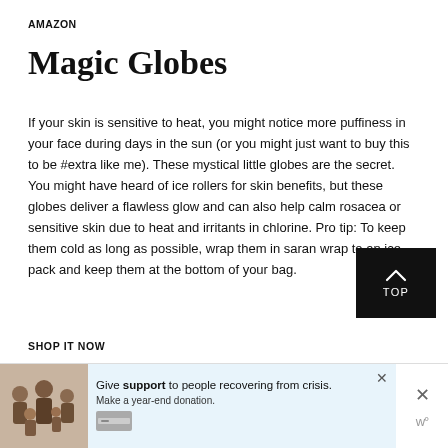AMAZON
Magic Globes
If your skin is sensitive to heat, you might notice more puffiness in your face during days in the sun (or you might just want to buy this to be #extra like me). These mystical little globes are the secret. You might have heard of ice rollers for skin benefits, but these globes deliver a flawless glow and can also help calm rosacea or sensitive skin due to heat and irritants in chlorine. Pro tip: To keep them cold as long as possible, wrap them in saran wrap to an ice pack and keep them at the bottom of your bag.
[Figure (other): Black button with upward arrow and text 'TOP']
SHOP IT NOW
[Figure (photo): Advertisement banner: photo of family on left, blue background with text 'Give support to people recovering from crisis. Make a year-end donation.' and close button. Right side shows X close and W logo icons.]